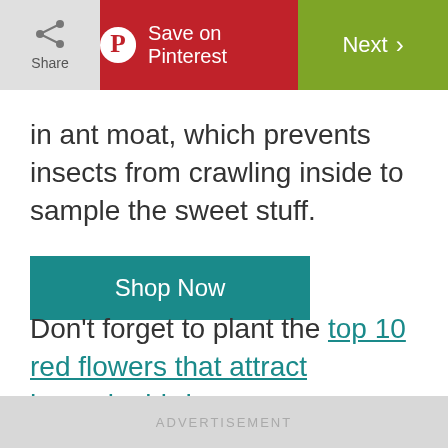Share | Save on Pinterest | Next
in ant moat, which prevents insects from crawling inside to sample the sweet stuff.
Shop Now
Don't forget to plant the top 10 red flowers that attract hummingbirds.
[Figure (photo): Metal hook or hanging hardware on a light background]
ADVERTISEMENT